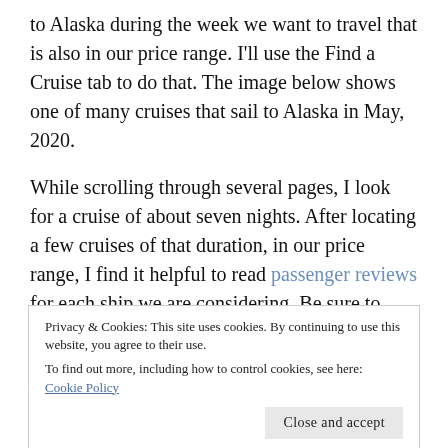to Alaska during the week we want to travel that is also in our price range. I'll use the Find a Cruise tab to do that. The image below shows one of many cruises that sail to Alaska in May, 2020.
While scrolling through several pages, I look for a cruise of about seven nights. After locating a few cruises of that duration, in our price range, I find it helpful to read passenger reviews for each ship we are considering. Be sure to read several of the most recent
Privacy & Cookies: This site uses cookies. By continuing to use this website, you agree to their use.
To find out more, including how to control cookies, see here: Cookie Policy
Throw out the highs and lows.